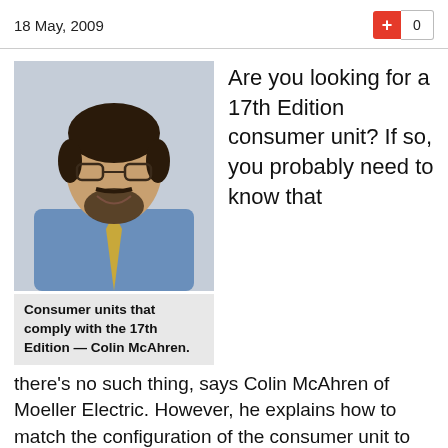18 May, 2009
[Figure (photo): Headshot of Colin McAhren, a man with glasses and a beard wearing a blue shirt and yellow tie.]
&#65279;Consumer units that comply with the 17th Edition — Colin McAhren.
Are you looking for a 17th Edition consumer unit? If so, you probably need to know that there's no such thing, says Colin McAhren of Moeller Electric. However, he explains how to match the configuration of the consumer unit to the wiring scheme so that the complete installation conforms to the 17th Edition.
Wouldn't it be nice to buy a consumer unit off the shelf that was guaranteed to meet the requirements of the 17th Edition of the IEE Wiring Regulations? Unfortunately,